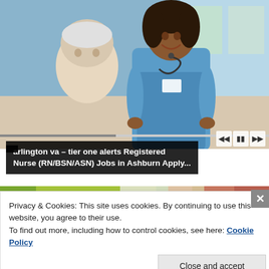[Figure (photo): A smiling Black female nurse in blue scrubs with a stethoscope attending to an elderly white-haired patient in a medical setting]
arlington va – tier one alerts Registered Nurse (RN/BSN/ASN) Jobs in Ashburn Apply…
[Figure (photo): Colorful blurred image of books or folders in green, white and red tones]
Privacy & Cookies: This site uses cookies. By continuing to use this website, you agree to their use.
To find out more, including how to control cookies, see here: Cookie Policy
Close and accept